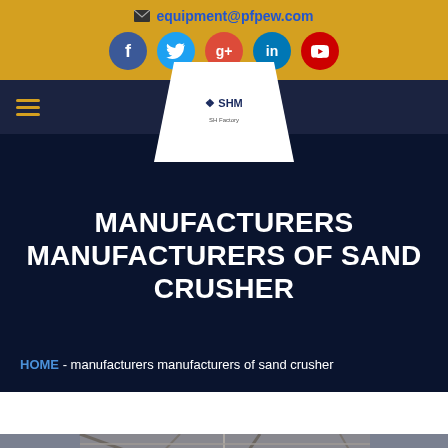equipment@pfpew.com
[Figure (screenshot): Social media icons row: Facebook (blue circle), Twitter (light blue circle), Google+ (red circle), LinkedIn (dark blue circle), YouTube (red circle)]
[Figure (logo): SHM logo in white trapezoid/triangle shape on dark navy navigation bar with hamburger menu icon]
MANUFACTURERS MANUFACTURERS OF SAND CRUSHER
HOME  -  manufacturers manufacturers of sand crusher
[Figure (photo): Industrial building interior showing roof trusses and structural steel, partially visible at bottom of page]